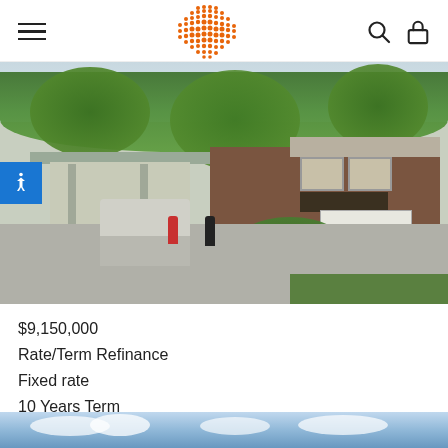Navigation header with hamburger menu, dot-grid logo, search and lock icons
[Figure (photo): Exterior photo of a Fresenius Medical Care facility: a low-rise brick building with a covered entrance canopy, parking lot with trucks, shrubs, and trees. A blue accessibility button is visible on the left side.]
$9,150,000
Rate/Term Refinance
Fixed rate
10 Years Term
Surprise, AZ
[Figure (photo): Partial bottom strip showing a sky with clouds, beginning of another property photo.]